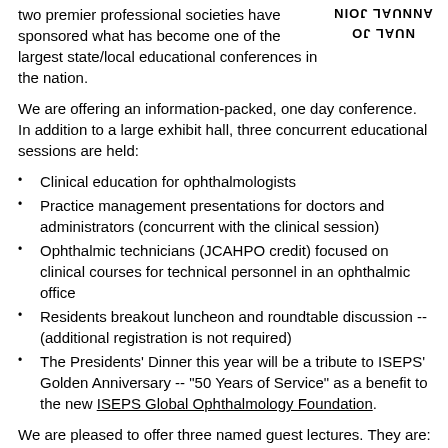[Figure (other): Circular stamp/logo with text 'ANNUAL JOINT' arranged in arc, partially visible at top right corner]
two premier professional societies have sponsored what has become one of the largest state/local educational conferences in the nation.
We are offering an information-packed, one day conference.  In addition to a large exhibit hall, three concurrent educational sessions are held:
Clinical education for ophthalmologists
Practice management presentations for doctors and administrators (concurrent with the clinical session)
Ophthalmic technicians (JCAHPO credit) focused on clinical courses for technical personnel in an ophthalmic office
Residents breakout luncheon and roundtable discussion -- (additional registration is not required)
The Presidents' Dinner this year will be a tribute to ISEPS' Golden Anniversary -- "50 Years of Service" as a benefit to the new ISEPS Global Ophthalmology Foundation.
We are pleased to offer three named guest lectures. They are: